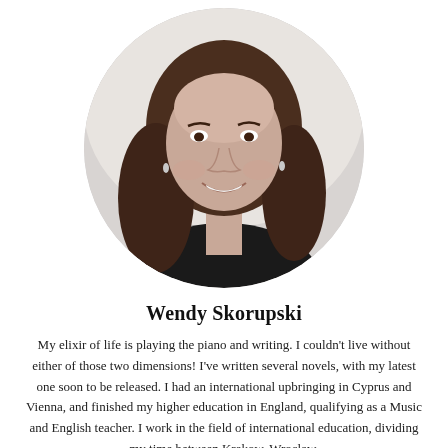[Figure (photo): Circular cropped headshot of Wendy Skorupski, a woman with long brown hair, smiling, wearing a black top, photographed against a light grey background.]
Wendy Skorupski
My elixir of life is playing the piano and writing. I couldn't live without either of those two dimensions! I've written several novels, with my latest one soon to be released. I had an international upbringing in Cyprus and Vienna, and finished my higher education in England, qualifying as a Music and English teacher. I work in the field of international education, dividing my time between Krakow, Wroclaw,